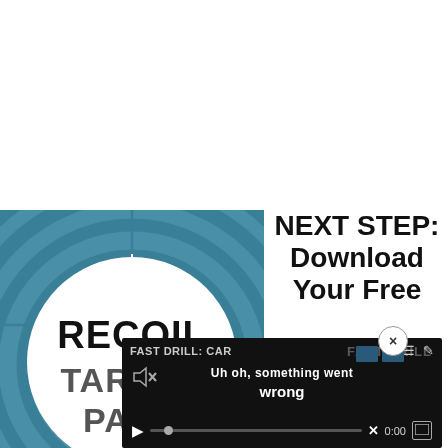[Figure (illustration): Recoil Target Pack product image: teal/steel-blue background with concentric circle target rings, crosshair lines, large white circle in center containing bold black stacked text 'RECOIL TARGET PACK']
NEXT STEP:
Download
Your Free
[Figure (screenshot): Video player overlay on dark background showing error state. Header reads 'FAST DRILL: CAR' with hamburger menu and pencil icons. Volume icon with X (muted). Center text: 'Uh oh, something went wrong'. Controls bar at bottom with play button, progress bar, X button, 0:00 timestamp, and fullscreen button.]